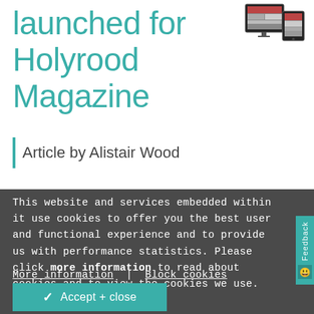launched for Holyrood Magazine
[Figure (screenshot): Device mockup showing magazine on desktop and tablet screens]
Article by Alistair Wood
This website and services embedded within it use cookies to offer you the best user and functional experience and to provide us with performance statistics. Please click more information to read about cookies and to view the cookies we use.
More information | Block cookies
✓ Accept + close